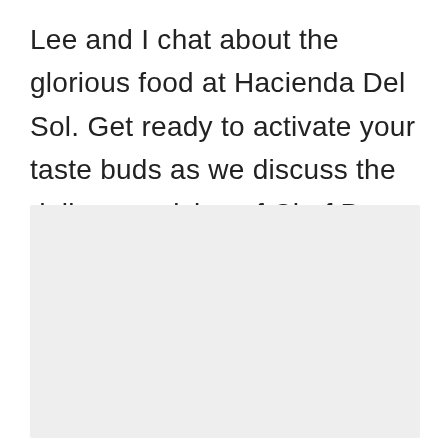Lee and I chat about the glorious food at Hacienda Del Sol. Get ready to activate your taste buds as we discuss the delicous cuisine of Chef Bruce Yim.
[Figure (photo): A light gray placeholder image block, representing an embedded image or video thumbnail.]